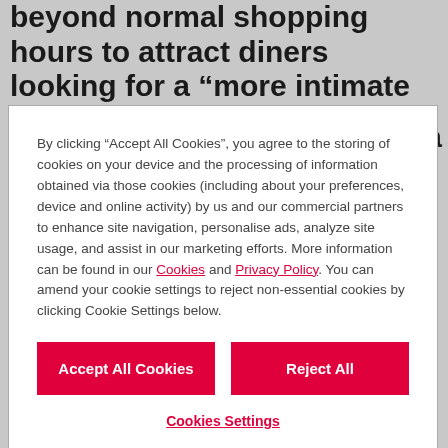beyond normal shopping hours to attract diners looking for a “more intimate meal”.
By clicking “Accept All Cookies”, you agree to the storing of cookies on your device and the processing of information obtained via those cookies (including about your preferences, device and online activity) by us and our commercial partners to enhance site navigation, personalise ads, analyze site usage, and assist in our marketing efforts. More information can be found in our Cookies and Privacy Policy. You can amend your cookie settings to reject non-essential cookies by clicking Cookie Settings below.
Accept All Cookies
Reject All
Cookies Settings